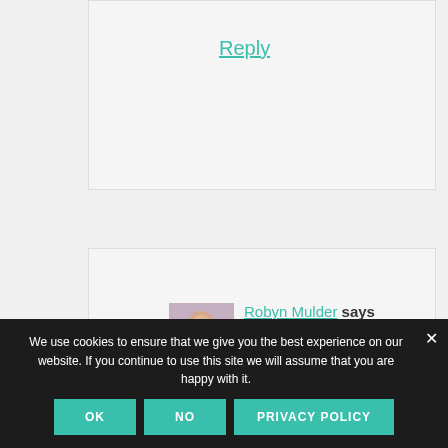Reply
Robyn Mulder says
September 4, 2021 at 6:18 pm
Wow! The premise for this book
We use cookies to ensure that we give you the best experience on our website. If you continue to use this site we will assume that you are happy with it.
OK
NO
PRIVACY POLICY